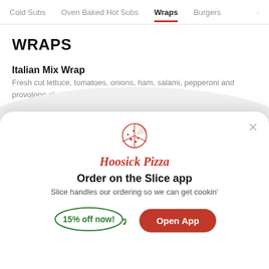Cold Subs   Oven Baked Hot Subs   Wraps   Burgers
WRAPS
Italian Mix Wrap
Fresh cut lettuce, tomatoes, onions, ham, salami, pepperoni and provolone cheese with Italian dressing.
$9.99
[Figure (logo): Hoosick Pizza logo — a pizza slice illustration above the brand name]
Hoosick Pizza
Order on the Slice app
Slice handles our ordering so we can get cookin'
15% off now!
Open App